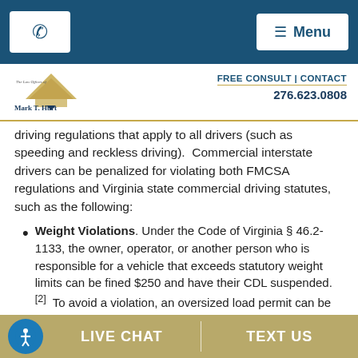Phone | Menu
[Figure (logo): The Law Offices of Mark T. Hurt logo with pyramid/building graphic]
FREE CONSULT | CONTACT
276.623.0808
driving regulations that apply to all drivers (such as speeding and reckless driving). Commercial interstate drivers can be penalized for violating both FMCSA regulations and Virginia state commercial driving statutes, such as the following:
Weight Violations. Under the Code of Virginia § 46.2-1133, the owner, operator, or another person who is responsible for a vehicle that exceeds statutory weight limits can be fined $250 and have their CDL suspended.[2] To avoid a violation, an oversized load permit can be
LIVE CHAT | TEXT US